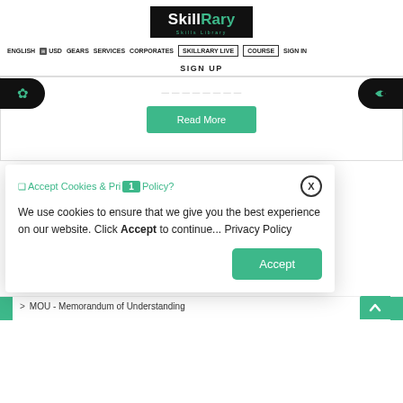[Figure (logo): SkillRary logo — black box with white 'Skill' and teal 'Rary' text, tagline 'Skills Library' beneath]
ENGLISH  USD  GEARS  SERVICES  CORPORATES  SKILLRARY LIVE  COURSE  SIGN IN
SIGN UP
[Figure (screenshot): Read More green button on a course card]
0 Accept Cookies & Pri 1 Policy?
We use cookies to ensure that we give you the best experience on our website. Click Accept to continue... Privacy Policy
Accept
> MOU - Memorandum of Understanding